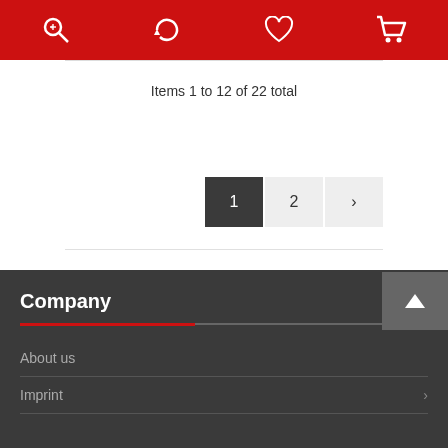[Figure (screenshot): Red toolbar with four white icons: magnify/search, refresh/rotate, heart/wishlist, shopping cart]
Items 1 to 12 of 22 total
[Figure (other): Pagination controls: page 1 (active, dark), page 2, and next arrow chevron]
Company
About us
Imprint